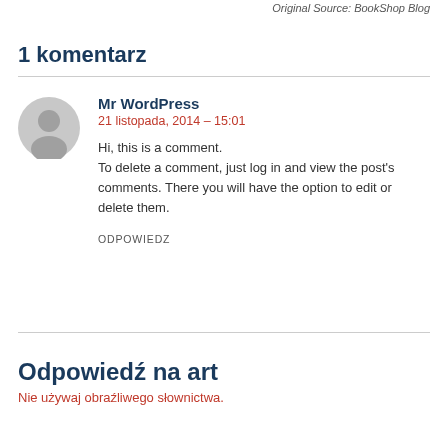Original Source: BookShop Blog
1 komentarz
Mr WordPress
21 listopada, 2014 - 15:01
Hi, this is a comment.
To delete a comment, just log in and view the post's comments. There you will have the option to edit or delete them.
ODPOWIEDZ
Odpowiedź na art
Nie używaj obraźliwego słownictwa.